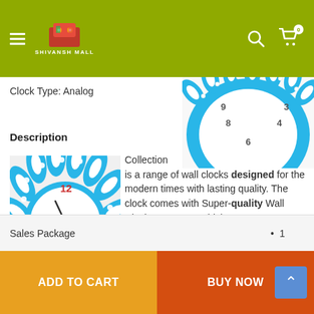Shivansh Mall
Clock Type: Analog
[Figure (photo): Peacock-themed decorative wall clock with blue feathers and crystal gems, upper portion visible]
Description
[Figure (photo): Peacock-themed decorative wall clock with blue turquoise feathers, crystals, and colorful clock face showing numbers 9, 10, 11, 12 with peacock feather clock hands]
Collection is a range of wall clocks designed for the modern times with lasting quality. The clock comes with Super-quality Wall Clock Movement which guarantees accurate time. All the clocks are manufactured with best of raw materials which requires minimum of maintenance.
| Sales Package |  | 1 |
| --- | --- | --- |
ADD TO CART
BUY NOW